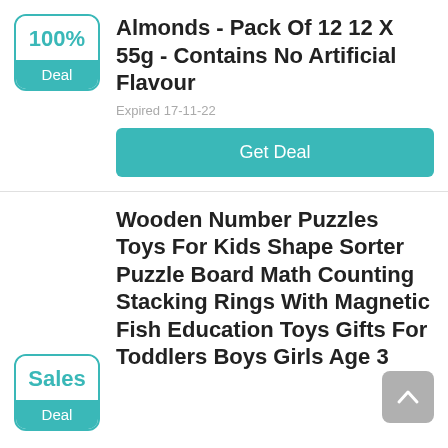[Figure (infographic): Deal badge with 100% in teal text on white top half and 'Deal' in white text on teal bottom half, rounded border]
Almonds - Pack Of 12 12 X 55g - Contains No Artificial Flavour
Expired 17-11-22
Get Deal
[Figure (infographic): Sales badge with 'Sales' in teal text on white top half and 'Deal' in white text on teal bottom half, rounded border]
Wooden Number Puzzles Toys For Kids Shape Sorter Puzzle Board Math Counting Stacking Rings With Magnetic Fish Education Toys Gifts For Toddlers Boys Girls Age 3